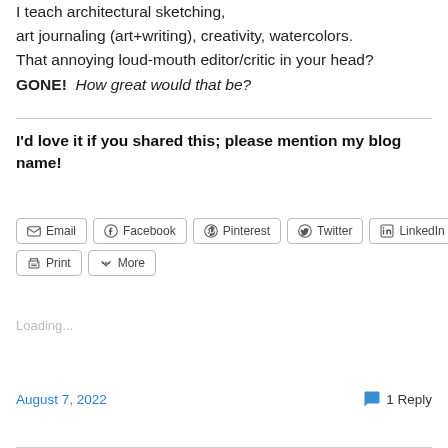I teach architectural sketching, art journaling (art+writing), creativity, watercolors. That annoying loud-mouth editor/critic in your head? GONE!  How great would that be?
I'd love it if you shared this; please mention my blog name!
[Figure (other): Share buttons: Email, Facebook, Pinterest, Twitter, LinkedIn, Print, More]
Loading...
August 7, 2022
1 Reply